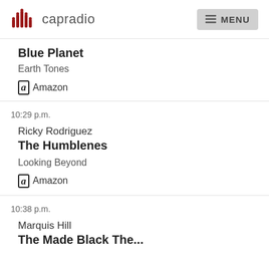capradio MENU
Blue Planet
Earth Tones
Amazon
10:29 p.m.
Ricky Rodriguez
The Humblenes
Looking Beyond
Amazon
10:38 p.m.
Marquis Hill
The Made Black The...